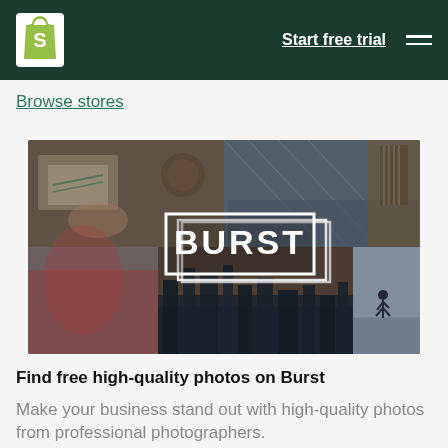Start free trial
Browse stores
[Figure (photo): Burst photo collage banner showing a desk workspace, crowd scene, guitar, city skyline, and a person running, with the BURST logo overlaid in white]
Find free high-quality photos on Burst
Make your business stand out with high-quality photos from professional photographers.